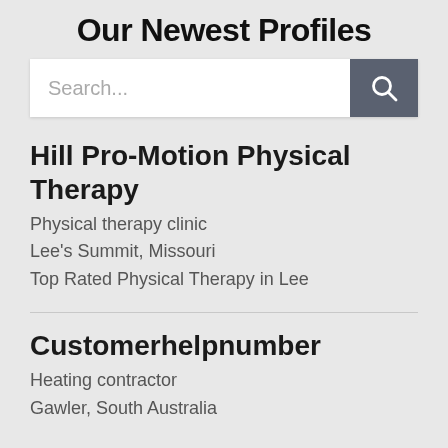Our Newest Profiles
[Figure (screenshot): Search bar with text input field showing placeholder 'Search...' and a dark grey search button with magnifying glass icon]
Hill Pro-Motion Physical Therapy
Physical therapy clinic
Lee's Summit, Missouri
Top Rated Physical Therapy in Lee
Customerhelpnumber
Heating contractor
Gawler, South Australia